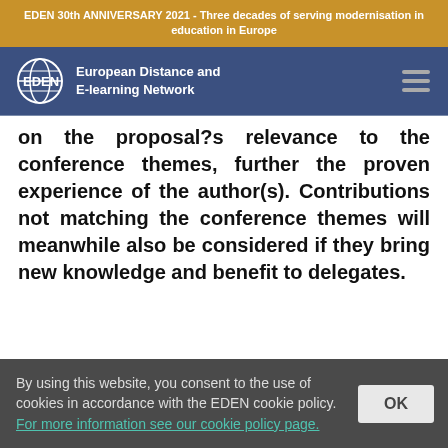EDEN 30th ANNIVERSARY 2021 - Three decades of serving modernisation in education in Europe
[Figure (logo): EDEN - European Distance and E-learning Network logo with globe icon and navigation hamburger menu]
on the proposal?s relevance to the conference themes, further the proven experience of the author(s). Contributions not matching the conference themes will meanwhile also be considered if they bring new knowledge and benefit to delegates.
By using this website, you consent to the use of cookies in accordance with the EDEN cookie policy. For more information see our cookie policy page.